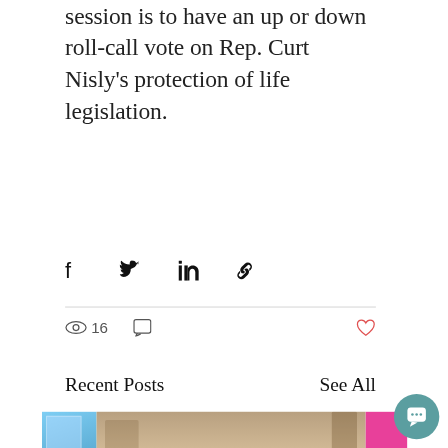session is to have an up or down roll-call vote on Rep. Curt Nisly's protection of life legislation.
[Figure (infographic): Social share icons: Facebook, Twitter, LinkedIn, and link/chain icon]
16 views, 0 comments, heart/like button
Recent Posts
See All
[Figure (photo): Three partially visible thumbnail photos of recent posts, including a woman speaking at a podium in a legislative chamber, a blue building exterior, and a pink/magenta solid color block]